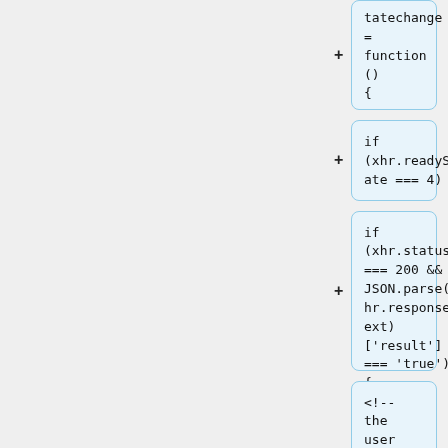tatechange = function () {
if (xhr.readyState === 4) {
if (xhr.status === 200 && JSON.parse(xhr.responseText)['result'] === 'true') {
<!-- the user already